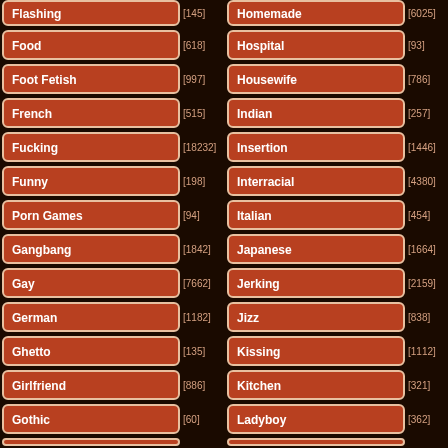Flashing [145]
Homemade [6025]
Food [618]
Hospital [93]
Foot Fetish [997]
Housewife [786]
French [515]
Indian [257]
Fucking [18232]
Insertion [1446]
Funny [198]
Interracial [4380]
Porn Games [94]
Italian [454]
Gangbang [1842]
Japanese [1664]
Gay [7662]
Jerking [2159]
German [1182]
Jizz [838]
Ghetto [135]
Kissing [1112]
Girlfriend [886]
Kitchen [321]
Gothic [60]
Ladyboy [362]